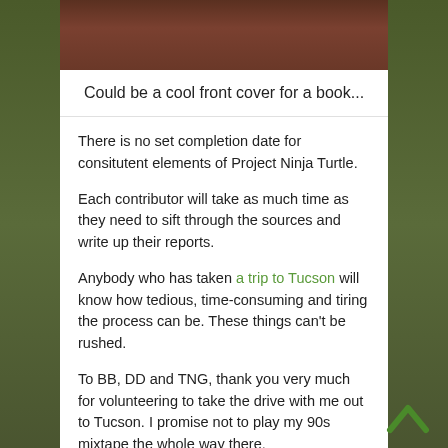[Figure (photo): Partial view of a photo at top, appears dark reddish-brown texture, likely a turtle or nature close-up, cropped at top of page]
Could be a cool front cover for a book...
There is no set completion date for consitutent elements of Project Ninja Turtle.
Each contributor will take as much time as they need to sift through the sources and write up their reports.
Anybody who has taken a trip to Tucson will know how tedious, time-consuming and tiring the process can be. These things can't be rushed.
To BB, DD and TNG, thank you very much for volunteering to take the drive with me out to Tucson. I promise not to play my 90s mixtape the whole way there.